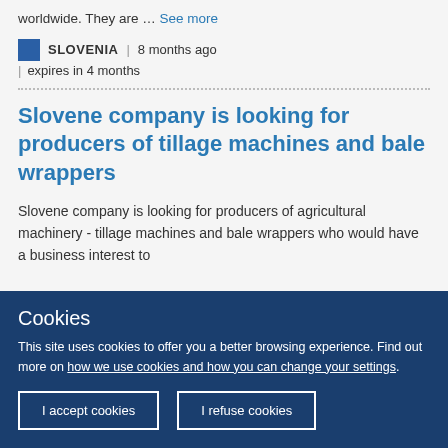worldwide. They are … See more
SLOVENIA | 8 months ago | expires in 4 months
Slovene company is looking for producers of tillage machines and bale wrappers
Slovene company is looking for producers of agricultural machinery - tillage machines and bale wrappers who would have a business interest to
Cookies
This site uses cookies to offer you a better browsing experience. Find out more on how we use cookies and how you can change your settings.
[I accept cookies] [I refuse cookies]